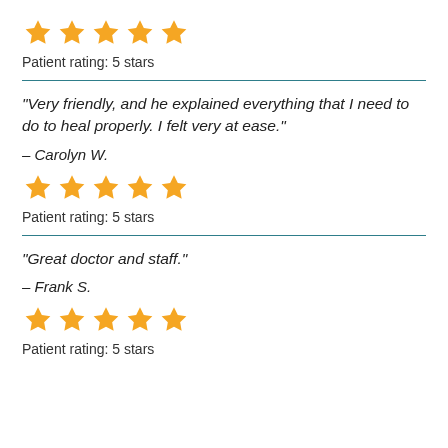[Figure (other): 5 orange star rating icons]
Patient rating: 5 stars
“Very friendly, and he explained everything that I need to do to heal properly. I felt very at ease.”
– Carolyn W.
[Figure (other): 5 orange star rating icons]
Patient rating: 5 stars
“Great doctor and staff.”
– Frank S.
[Figure (other): 5 orange star rating icons]
Patient rating: 5 stars